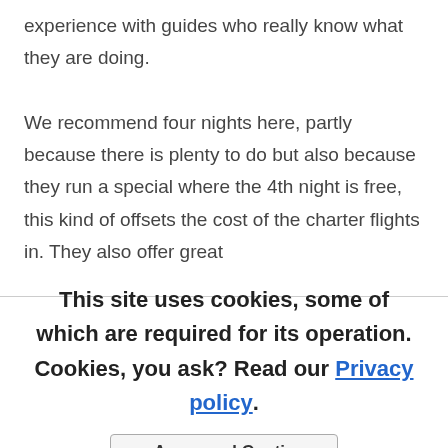experience with guides who really know what they are doing.

We recommend four nights here, partly because there is plenty to do but also because they run a special where the 4th night is free, this kind of offsets the cost of the charter flights in. They also offer great
This site uses cookies, some of which are required for its operation. Cookies, you ask? Read our Privacy policy. or Agree and Continue